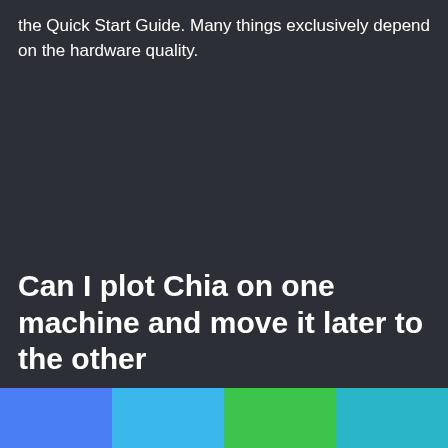the Quick Start Guide. Many things exclusively depend on the hardware quality.
Can I plot Chia on one machine and move it later to the other
[Figure (other): Four colored horizontal bar segments: blue, cyan, green, teal]